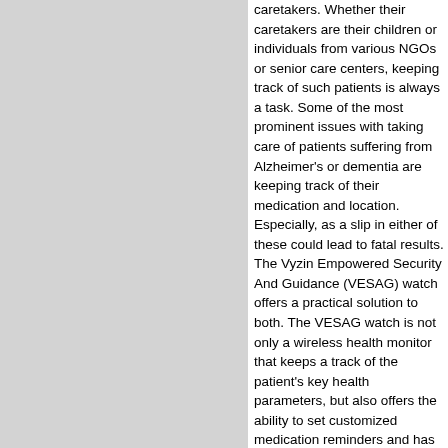caretakers. Whether their caretakers are their children or individuals from various NGOs or senior care centers, keeping track of such patients is always a task. Some of the most prominent issues with taking care of patients suffering from Alzheimer's or dementia are keeping track of their medication and location. Especially, as a slip in either of these could lead to fatal results. The Vyzin Empowered Security And Guidance (VESAG) watch offers a practical solution to both. The VESAG watch is not only a wireless health monitor that keeps a track of the patient's key health parameters, but also offers the ability to set customized medication reminders and has a GPS tracker. The watch helps monitor the blood pressure, blood sugar, heart rate, pulse, temperature, etc. of the patient and also sends alerts when these parameters reach alarmingly high levels. The medicine...